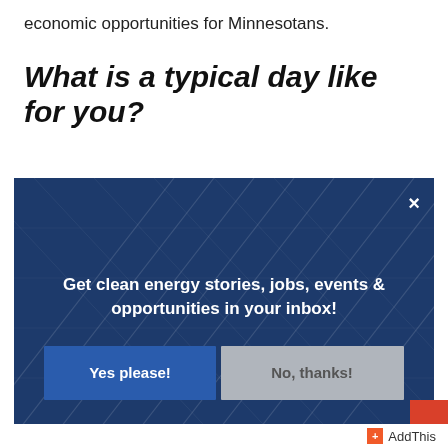economic opportunities for Minnesotans.
What is a typical day like for you?
[Figure (screenshot): Modal popup with dark blue solar panel background. Contains a close button (×), text 'Get clean energy stories, jobs, events & opportunities in your inbox!', and two buttons: 'Yes please!' (blue) and 'No, thanks!' (grey).]
[Figure (logo): AddThis share button/logo in bottom right corner with orange plus icon and 'AddThis' label.]